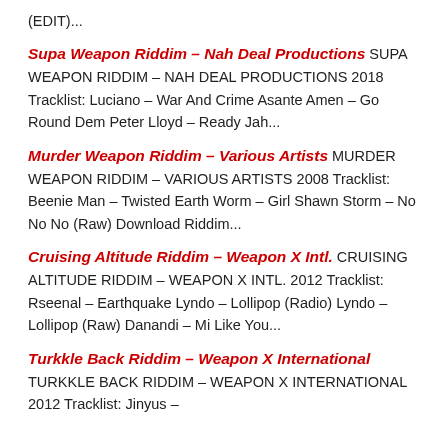(EDIT)...
Supa Weapon Riddim – Nah Deal Productions SUPA WEAPON RIDDIM – NAH DEAL PRODUCTIONS 2018 Tracklist: Luciano – War And Crime Asante Amen – Go Round Dem Peter Lloyd – Ready Jah...
Murder Weapon Riddim – Various Artists MURDER WEAPON RIDDIM – VARIOUS ARTISTS 2008 Tracklist: Beenie Man – Twisted Earth Worm – Girl Shawn Storm – No No No (Raw) Download Riddim...
Cruising Altitude Riddim – Weapon X Intl. CRUISING ALTITUDE RIDDIM – WEAPON X INTL. 2012 Tracklist: Rseenal – Earthquake Lyndo – Lollipop (Radio) Lyndo – Lollipop (Raw) Danandi – Mi Like You...
Turkkle Back Riddim – Weapon X International TURKKLE BACK RIDDIM – WEAPON X INTERNATIONAL 2012 Tracklist: Jinyus –